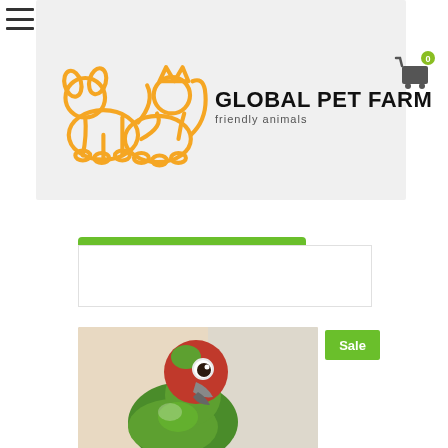[Figure (logo): Global Pet Farm logo with two golden outline animals (dog and cat) and text 'GLOBAL PET FARM / friendly animals']
[Figure (other): Shopping cart icon with green '0' badge in top right corner]
[Figure (other): Green button showing sale price: strikethrough original price and $2,500.00 in white text]
Sale
[Figure (photo): Close-up photo of a green and red parrot (conure) looking at the camera against a light background]